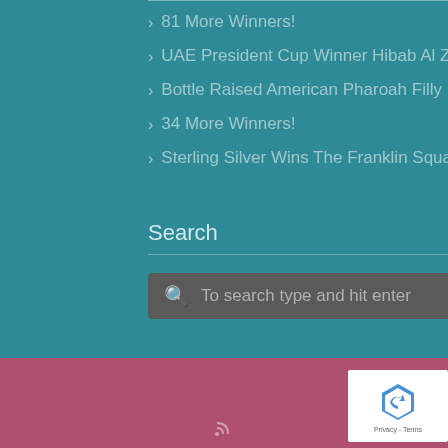81 More Winners!
UAE President Cup Winner Hibab Al Zaman
Bottle Raised American Pharoah Filly
34 More Winners!
Sterling Silver Wins The Franklin Square
Search
To search type and hit enter
© 2021 Webster Training Center :: Powered by RooSites